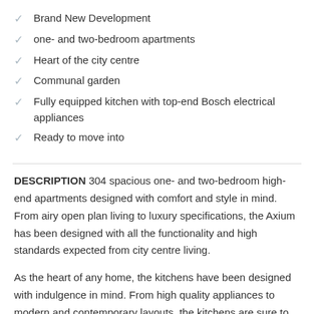Brand New Development
one- and two-bedroom apartments
Heart of the city centre
Communal garden
Fully equipped kitchen with top-end Bosch electrical appliances
Ready to move into
DESCRIPTION 304 spacious one- and two-bedroom high-end apartments designed with comfort and style in mind. From airy open plan living to luxury specifications, the Axium has been designed with all the functionality and high standards expected from city centre living.
As the heart of any home, the kitchens have been designed with indulgence in mind. From high quality appliances to modern and contemporary layouts, the kitchens are sure to bring out the inner chef in you